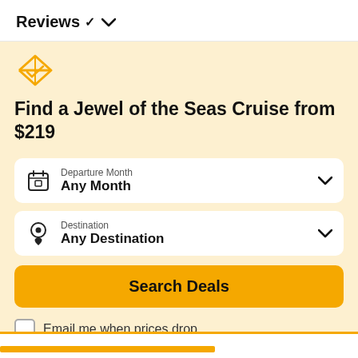Reviews ∨
[Figure (logo): Orange brand logo icon (diamond/envelope shape) for Royal Caribbean or similar cruise brand]
Find a Jewel of the Seas Cruise from $219
Departure Month — Any Month (dropdown)
Destination — Any Destination (dropdown)
Search Deals (button)
Email me when prices drop